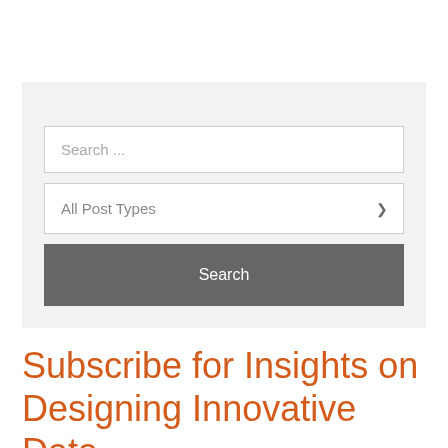Search My Articles & Podcasts:
Search ...
All Post Types
Search
Subscribe for Insights on Designing Innovative Data